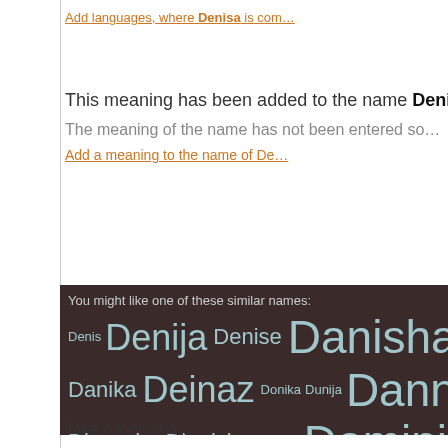Add languages, where Denisa is com…
This meaning has been added to the name Denisa:
The meaning of the name has not been entered so…
Add a meaning to the name of De…
You might like one of these similar names: Denis Denija Denise Danisha Deniz Demoni… Danika Deinaz Donika Dunija Dannica Denancy Din… Dinescha Dionicia Dionysia Dominica Dominik… Danke…
Take a look at a…